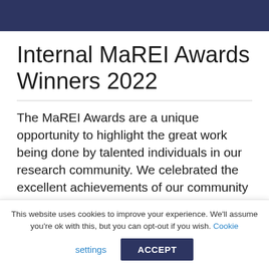Internal MaREI Awards Winners 2022
The MaREI Awards are a unique opportunity to highlight the great work being done by talented individuals in our research community. We celebrated the excellent achievements of our community in 2021 and to date in 2022. The winners were announced during the MaREI
This website uses cookies to improve your experience. We'll assume you're ok with this, but you can opt-out if you wish. Cookie settings ACCEPT